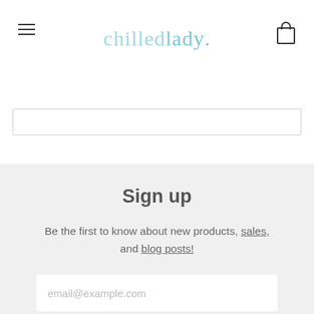chilled lady.
[Figure (screenshot): Search bar / input field below the header navigation]
Sign up
Be the first to know about new products, sales, and blog posts!
email@example.com